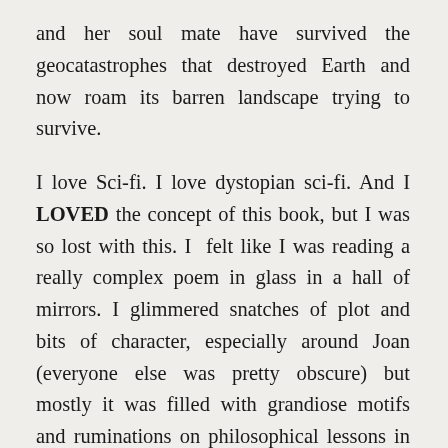and her soul mate have survived the geocatastrophes that destroyed Earth and now roam its barren landscape trying to survive.
I love Sci-fi. I love dystopian sci-fi. And I LOVED the concept of this book, but I was so lost with this. I felt like I was reading a really complex poem in glass in a hall of mirrors. I glimmered snatches of plot and bits of character, especially around Joan (everyone else was pretty obscure) but mostly it was filled with grandiose motifs and ruminations on philosophical lessons in snatches and grabs making it very hard to hang my interest on any one thing. I'm not totally beyond metaphysical